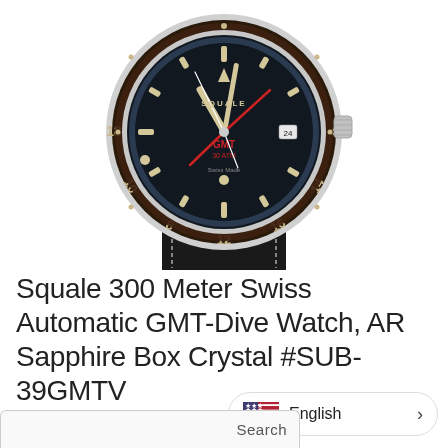[Figure (photo): Squale GMT dive watch with black dial, brown/black bezel with engraved numbers (6,8,10,12,14,16,18), red GMT hand, luminous indices and hands, date window at 3 o'clock, steel case, black leather strap with white stitching. Partially cropped at the top showing the lower portion of the watch.]
Squale 300 Meter Swiss Automatic GMT-Dive Watch, AR Sapphire Box Crystal #SUB-39GMTV